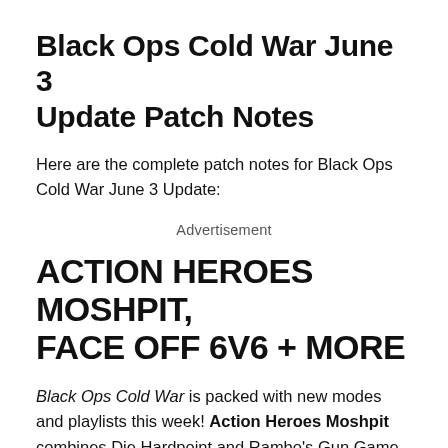Black Ops Cold War June 3 Update Patch Notes
Here are the complete patch notes for Black Ops Cold War June 3 Update:
Advertisement
ACTION HEROES MOSHPIT, FACE OFF 6V6 + MORE
Black Ops Cold War is packed with new modes and playlists this week! Action Heroes Moshpit combines Die Hardpoint and Rambo's Gun Game into a new Moshpit for Season